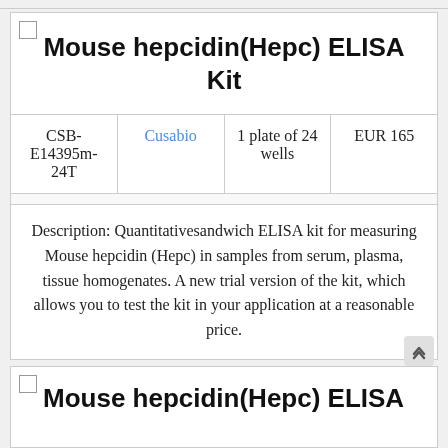Mouse hepcidin(Hepc) ELISA Kit
|  |  |  |  |
| --- | --- | --- | --- |
| CSB-E14395m-24T | Cusabio | 1 plate of 24 wells | EUR 165 |
Description: Quantitativesandwich ELISA kit for measuring Mouse hepcidin (Hepc) in samples from serum, plasma, tissue homogenates. A new trial version of the kit, which allows you to test the kit in your application at a reasonable price.
Mouse hepcidin(Hepc) ELISA